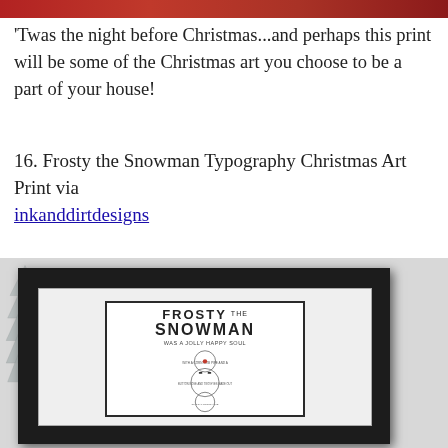[Figure (photo): Top cropped portion of a Christmas-themed image in red]
'Twas the night before Christmas...and perhaps this print will be some of the Christmas art you choose to be a part of your house!
16. Frosty the Snowman Typography Christmas Art Print via inkanddirtdesigns
[Figure (photo): Photo of a framed Frosty the Snowman typography art print in a black frame, with silver decorative trees visible beside it. The print shows 'Frosty the Snowman' text arranged in the shape of a snowman with circular text rings and a red dot.]